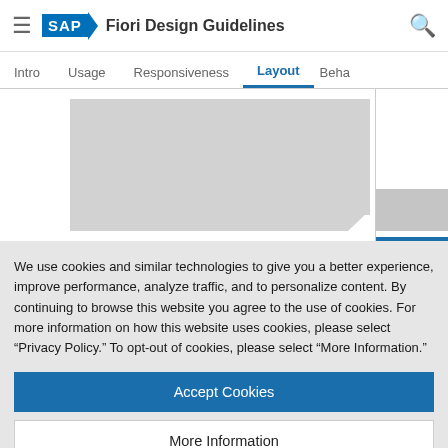SAP Fiori Design Guidelines
Intro | Usage | Responsiveness | Layout | Beha
[Figure (screenshot): Partial screenshot of SAP Fiori Design Guidelines Layout page showing gray placeholder UI blocks with an arrow shape and a right column panel.]
We use cookies and similar technologies to give you a better experience, improve performance, analyze traffic, and to personalize content. By continuing to browse this website you agree to the use of cookies. For more information on how this website uses cookies, please select “Privacy Policy.” To opt-out of cookies, please select “More Information.”
Accept Cookies
More Information
Privacy Policy | Powered by: TrustArc